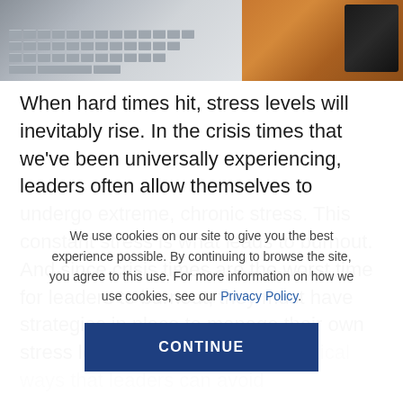[Figure (photo): Partial view of a laptop keyboard on the left and a dark device/notebook on a wooden surface on the right, cropped at top of page]
When hard times hit, stress levels will inevitably rise. In the crisis times that we've been universally experiencing, leaders often allow themselves to undergo extreme, chronic stress. This constant stress is what leads to burnout. And since crisis times are the worst time for leaders to burnout, they must have strategies in place to manage their own stress levels. Here are some practical ways that leaders can avoid
We use cookies on our site to give you the best experience possible. By continuing to browse the site, you agree to this use. For more information on how we use cookies, see our Privacy Policy.
CONTINUE